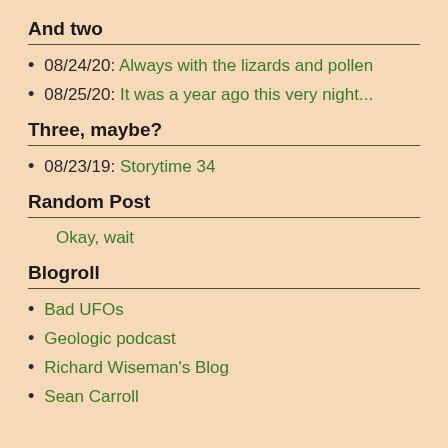And two
08/24/20: Always with the lizards and pollen
08/25/20: It was a year ago this very night...
Three, maybe?
08/23/19: Storytime 34
Random Post
Okay, wait
Blogroll
Bad UFOs
Geologic podcast
Richard Wiseman's Blog
Sean Carroll